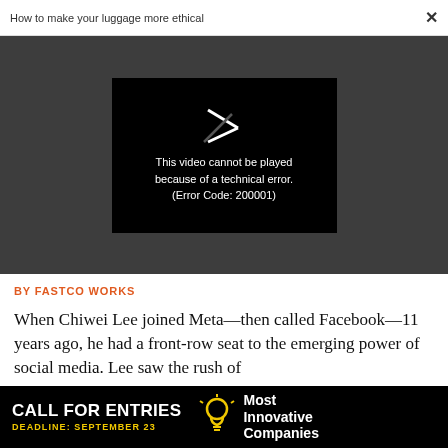How to make your luggage more ethical  ×
[Figure (screenshot): Video player showing error message: 'This video cannot be played because of a technical error. (Error Code: 200001)' on dark background with broken play button icon]
BY FASTCO WORKS
When Chiwei Lee joined Meta—then called Facebook—11 years ago, he had a front-row seat to the emerging power of social media. Lee saw the rush of
[Figure (infographic): Advertisement banner: CALL FOR ENTRIES / DEADLINE: SEPTEMBER 23 / [lightbulb icon] / Most Innovative Companies]